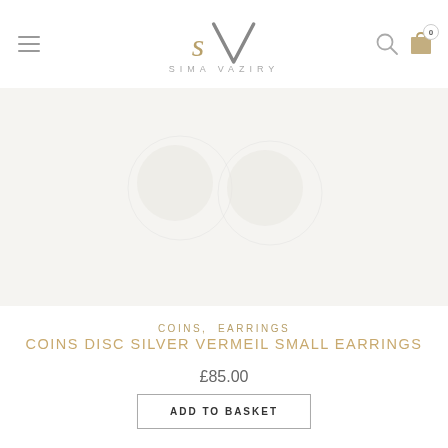SIMA VAZIRY
[Figure (photo): Product image area showing coins disc silver vermeil small earrings on light background]
COINS, EARRINGS
COINS DISC SILVER VERMEIL SMALL EARRINGS
£85.00
ADD TO BASKET